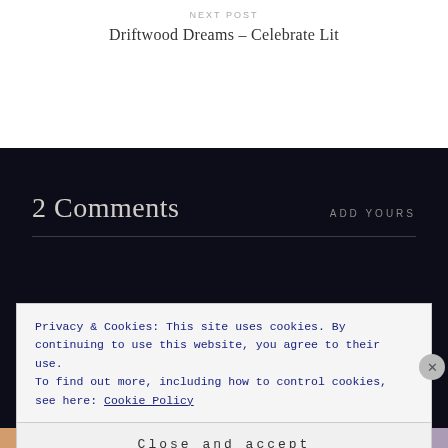NEXT POST
Driftwood Dreams – Celebrate Lit
2 Comments
ADD YOURS
Privacy & Cookies: This site uses cookies. By continuing to use this website, you agree to their use.
To find out more, including how to control cookies, see here: Cookie Policy
Close and accept